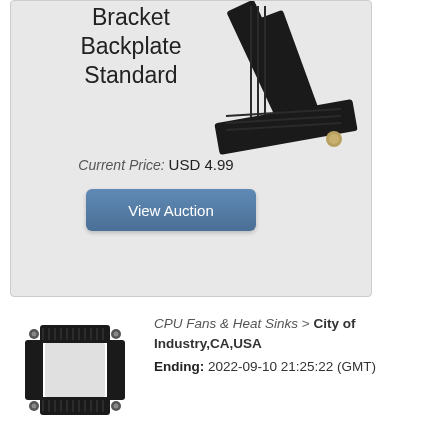Bracket Backplate Standard
Current Price: USD 4.99
View Auction
[Figure (photo): Black CPU mounting bracket backplate component partially shown at top-right of listing card]
[Figure (photo): Black CPU mounting bracket backplate shown from top-down view, square frame shape with mounting holes]
CPU Fans & Heat Sinks > City of Industry,CA,USA
Ending: 2022-09-10 21:25:22 (GMT)